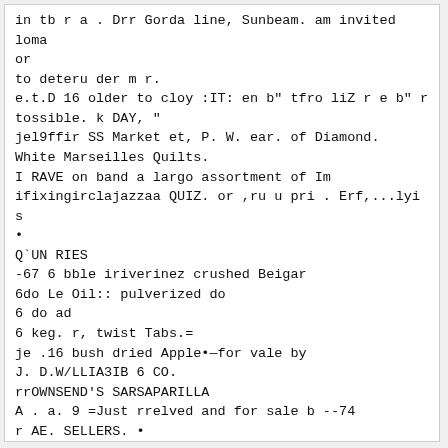in tb r a . Drr Gorda line, Sunbeam. am invited loma or
to deteru der m r.
e.t.D 16 older to cloy :IT: en b" tfro liZ r e b" r tossible. k DAY, "
jel9ffir SS Market et, P. W. ear. of Diamond.
White Marseilles Quilts.
I RAVE on band a largo assortment of Im ifixingirclajazzaa QUIZ. or ,ru u pri . Erf,...lyi s
•
Q`UN RIES
-67 6 bble iriverinez crushed Beigar
6do Le Oil:: pulverized do
6 do ad
6 keg. r, twist Tabs.=
je .16 bush dried Apple•—for vale by
J. D.W/LLIA3IB 6 CO.
rrOWNSEND'S SARSAPARILLA
A . a. 9 =Just rrelved and for sale b --74
r AE. SELLERS. •
P INK
RQOT 9001bn. prime qunl r, Juri t-
CITRIC ACID--250 lbs. just reed and for
j ale br Jas. R. E. SELLER.
. . . .